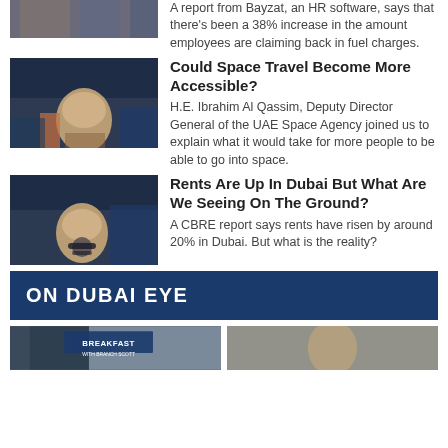[Figure (photo): Partial thumbnail of a TV show host at the top of the page]
A report from Bayzat, an HR software, says that there's been a 38% increase in the amount employees are claiming back in fuel charges.
[Figure (photo): Thumbnail of a woman being interviewed on TV studio set with blue background]
Could Space Travel Become More Accessible?
H.E. Ibrahim Al Qassim, Deputy Director General of the UAE Space Agency joined us to explain what it would take for more people to be able to go into space.
[Figure (photo): Thumbnail of a woman speaking into a microphone on a TV studio set]
Rents Are Up In Dubai But What Are We Seeing On The Ground?
A CBRE report says rents have risen by around 20% in Dubai. But what is the reality?
ON DUBAI EYE
[Figure (photo): Bottom strip showing two thumbnails: left shows a BREAKFAST show host, right shows another thumbnail]